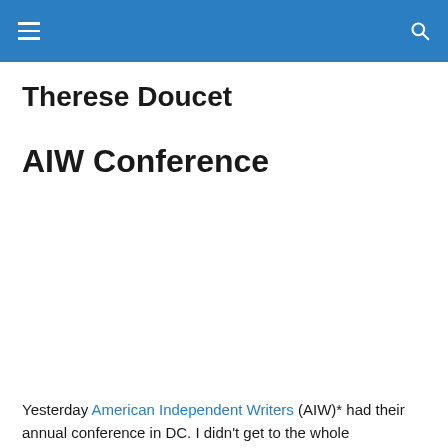Therese Doucet
AIW Conference
Yesterday American Independent Writers (AIW)* had their annual conference in DC. I didn't get to the whole...